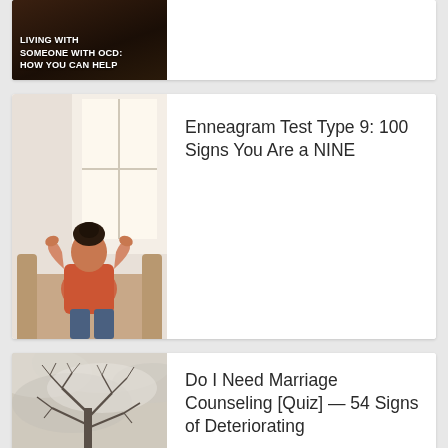[Figure (photo): Dark background image with text overlay: LIVING WITH SOMEONE WITH OCD: HOW YOU CAN HELP]
[Figure (photo): Person sitting in a chair with hands behind their head, facing away, near a window with bright light]
Enneagram Test Type 9: 100 Signs You Are a NINE
[Figure (photo): Bare tree branches against a cloudy sky, moody atmosphere]
Do I Need Marriage Counseling [Quiz] — 54 Signs of Deteriorating